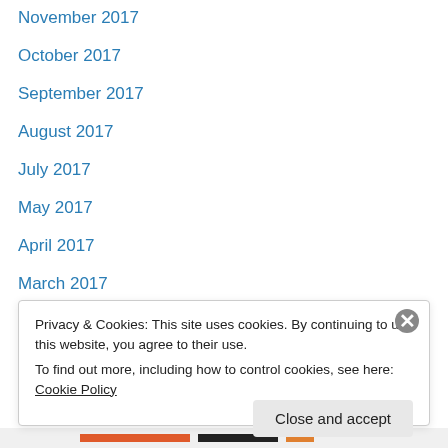November 2017
October 2017
September 2017
August 2017
July 2017
May 2017
April 2017
March 2017
February 2017
January 2017
December 2016
November 2016
October 2016
Privacy & Cookies: This site uses cookies. By continuing to use this website, you agree to their use. To find out more, including how to control cookies, see here: Cookie Policy
Close and accept